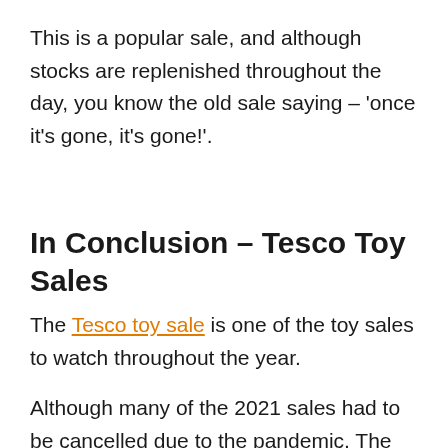This is a popular sale, and although stocks are replenished throughout the day, you know the old sale saying – 'once it's gone, it's gone!'.
In Conclusion – Tesco Toy Sales
The Tesco toy sale is one of the toy sales to watch throughout the year.
Although many of the 2021 sales had to be cancelled due to the pandemic, The Tesco toys